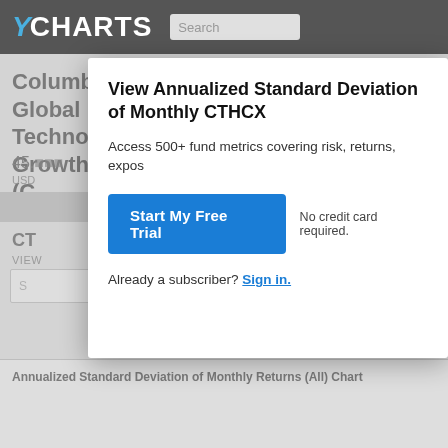YCHARTS
Columbia Global Technology Growth C (C...
45.
USD
CT
VIEW
S
View Annualized Standard Deviation of Monthly CTHCX
Access 500+ fund metrics covering risk, returns, expos...
No credit card required.
Already a subscriber? Sign in.
Annualized Standard Deviation of Monthly Returns (All) Chart